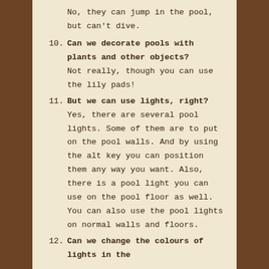No, they can jump in the pool, but can't dive.
10. Can we decorate pools with plants and other objects?
Not really, though you can use the lily pads!
11. But we can use lights, right?
Yes, there are several pool lights. Some of them are to put on the pool walls. And by using the alt key you can position them any way you want. Also, there is a pool light you can use on the pool floor as well. You can also use the pool lights on normal walls and floors.
12. Can we change the colours of lights in the